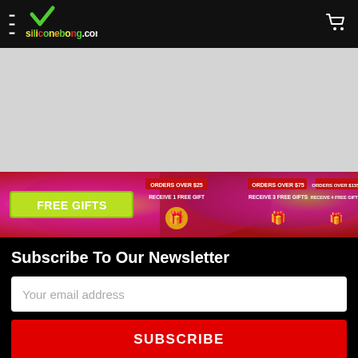siliconebong.com — navigation header with hamburger menu and cart icon
[Figure (infographic): Colorful tie-dye style banner advertising FREE GIFTS with orders over $25 (receive 1 free gift), orders over $75 (receive 3 free gifts), orders over $155 (receive 4 free gifts). Features green/yellow/red color scheme with product images.]
Subscribe To Our Newsletter
Your email address
SUBSCRIBE